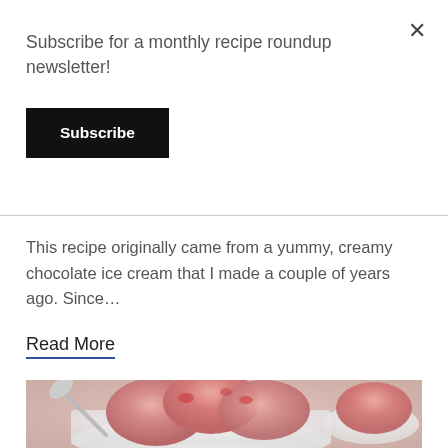Subscribe for a monthly recipe roundup newsletter!
Subscribe
This recipe originally came from a yummy, creamy chocolate ice cream that I made a couple of years ago. Since…
Read More
[Figure (photo): Bowls of strawberry ice cream scoops with a spoon, close-up photo on white background]